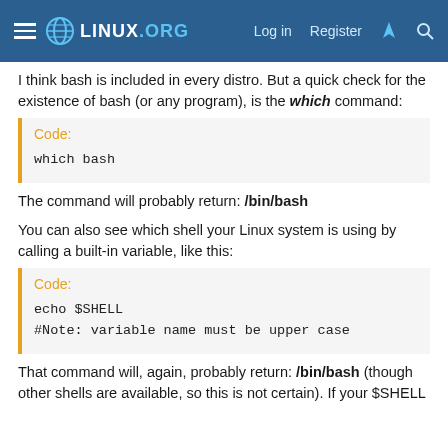LINUX.ORG  Log in  Register
I think bash is included in every distro. But a quick check for the existence of bash (or any program), is the which command:
Code:
which bash
The command will probably return: /bin/bash
You can also see which shell your Linux system is using by calling a built-in variable, like this:
Code:
echo $SHELL
#Note: variable name must be upper case
That command will, again, probably return: /bin/bash (though other shells are available, so this is not certain). If your $SHELL